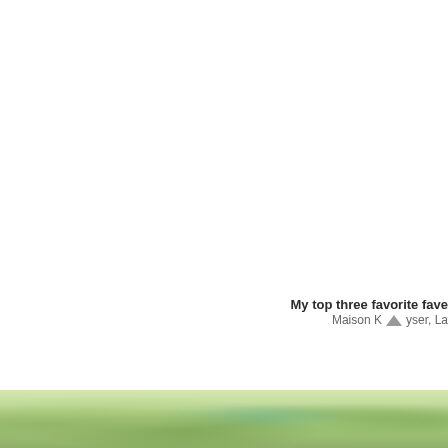My top three favorite fave
Maison Kayser, La
[Figure (photo): Bottom strip showing green foliage/plant photo, partially visible at bottom of page]